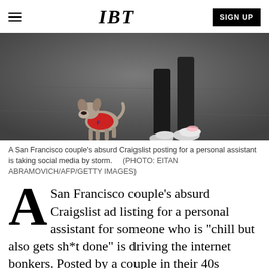IBT | SIGN UP
[Figure (photo): A person walking a dog on a dark asphalt surface. The dog is wearing a red shirt/jacket and walking ahead, seen from behind. The person is wearing black leggings and pink-white sneakers, also seen from behind.]
A San Francisco couple’s absurd Craigslist posting for a personal assistant is taking social media by storm.    (PHOTO: EITAN ABRAMOVICH/AFP/GETTY IMAGES)
A San Francisco couple's absurd Craigslist ad listing for a personal assistant for someone who is "chill but also gets sh*t done" is driving the internet bonkers. Posted by a couple in their 40s